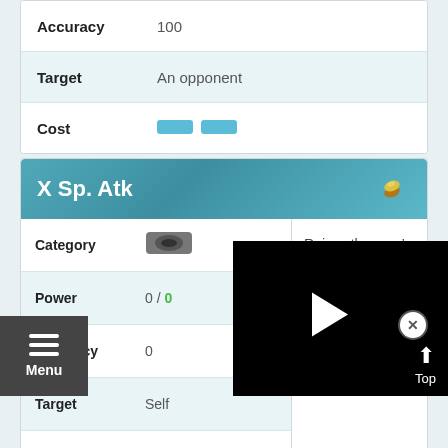|  |  |
| --- | --- |
| Accuracy | 100 |
| Target | An opponent |
| Cost | [pill][pill] |
X Sp. Atk
|  |  |
| --- | --- |
| Category | [status icon] |
| Power | 0 / 0 |
| Accuracy | 0 |
| Target | Self |
| Uses | 2 |
Raises the user’s Sp. Atk by 2 stat ranks.
[Figure (screenshot): Video player overlay with play button and Top navigation button]
[Figure (other): Menu button with hamburger icon and Menu label]